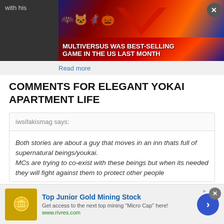[Figure (screenshot): Screenshot of a webpage showing a comment section for 'Elegant Yokai Apartment Life' with two overlaid advertisements: a MultiVersus game ad at the top and a gold mining stock ad at the bottom.]
COMMENTS FOR ELEGANT YOKAI APARTMENT LIFE
iwsifakismag says:
Both stories are about a guy that moves in an inn thats full of supernatural beings/youkai. MCs are trying to co-exist with these beings but when its needed they will fight against them to protect other people